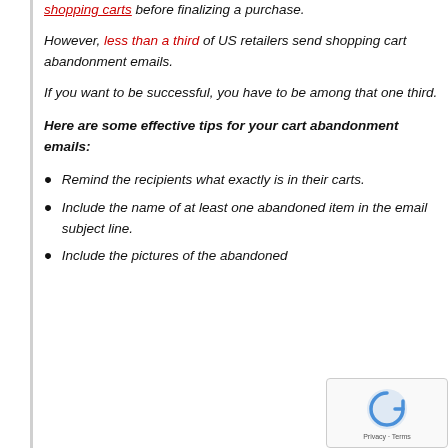shopping carts before finalizing a purchase.
However, less than a third of US retailers send shopping cart abandonment emails.
If you want to be successful, you have to be among that one third.
Here are some effective tips for your cart abandonment emails:
Remind the recipients what exactly is in their carts.
Include the name of at least one abandoned item in the email subject line.
Include the pictures of the abandoned...